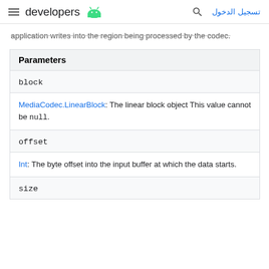developers
application writes into the region being processed by the codec.
| Parameters |
| --- |
| block |
| MediaCodec.LinearBlock: The linear block object This value cannot be null. |
| offset |
| Int: The byte offset into the input buffer at which the data starts. |
| size |